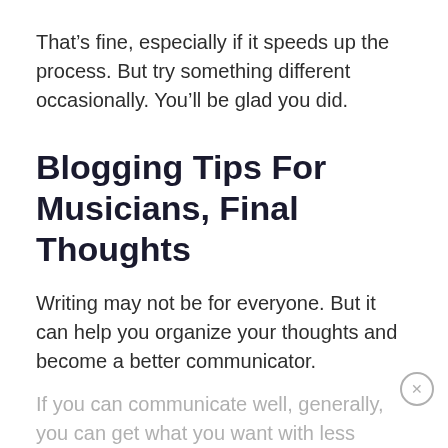That’s fine, especially if it speeds up the process. But try something different occasionally. You’ll be glad you did.
Blogging Tips For Musicians, Final Thoughts
Writing may not be for everyone. But it can help you organize your thoughts and become a better communicator.
If you can communicate well, generally, you can get what you want with less